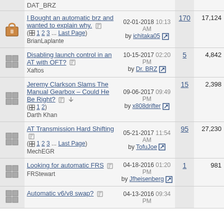|  | Thread Title | Last Post | Replies | Views |
| --- | --- | --- | --- | --- |
| [icon] | DAT_BRZ |  |  |  |
| [locked icon] | I Bought an automatic brz and wanted to explain why.
(1 2 3 ... Last Page)
BrianLaplante | 02-01-2018 10:13 AM
by ichitaka05 | 170 | 17,124 |
| [icon] | Disabling launch control in an AT with OFT?
Xaftos | 10-15-2017 02:20 PM
by Dr. BRZ | 5 | 4,842 |
| [icon] | Jeremy Clarkson Slams The Manual Gearbox – Could He Be Right?
(1 2)
Darth Khan | 09-06-2017 09:49 PM
by x808drifter | 15 | 2,398 |
| [icon] | AT Transmission Hard Shifting
(1 2 3 ... Last Page)
MechEGR | 05-21-2017 11:54 AM
by TofuJoe | 95 | 27,230 |
| [icon] | Looking for automatic FRS
FRStewart | 04-18-2016 01:20 PM
by Jfheisenberg | 1 | 981 |
| [icon] | Automatic v6/v8 swap? | 04-13-2016 09:34 PM |  |  |